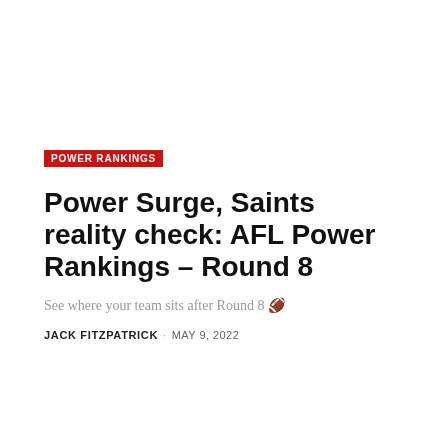POWER RANKINGS
Power Surge, Saints reality check: AFL Power Rankings – Round 8
See where your team sits after Round 8 🏈
JACK FITZPATRICK · MAY 9, 2022